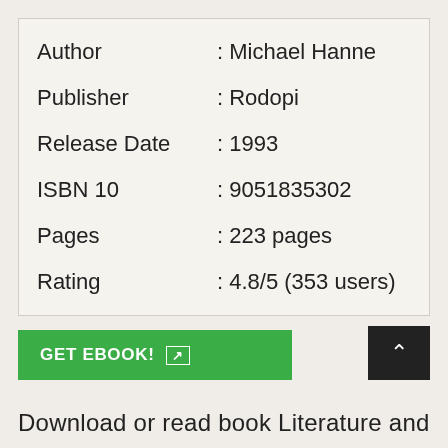| Author | : Michael Hanne |
| Publisher | : Rodopi |
| Release Date | : 1993 |
| ISBN 10 | : 9051835302 |
| Pages | : 223 pages |
| Rating | : 4.8/5 (353 users) |
GET EBOOK!
Download or read book Literature and